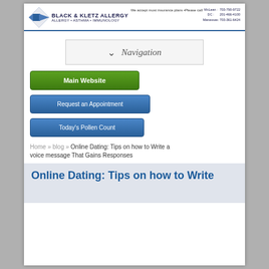BLACK & KLETZ ALLERGY | We accept most insurance plans • Please call us for an appointment! | Allergy • Asthma • Immunology | McLean: 703-790-9722 | DC: 201-466-4100 | Manassas: 703-361-6424
Navigation
Main Website
Request an Appointment
Today's Pollen Count
Home » blog » Online Dating: Tips on how to Write a voice message That Gains Responses
Online Dating: Tips on how to Write